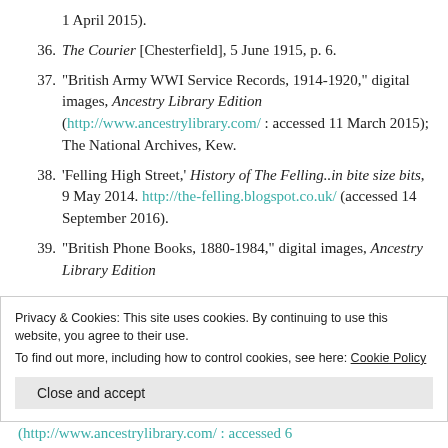1 April 2015).
36. The Courier [Chesterfield], 5 June 1915, p. 6.
37. "British Army WWI Service Records, 1914-1920," digital images, Ancestry Library Edition (http://www.ancestrylibrary.com/ : accessed 11 March 2015); The National Archives, Kew.
38. 'Felling High Street,' History of The Felling..in bite size bits, 9 May 2014. http://the-felling.blogspot.co.uk/ (accessed 14 September 2016).
39. "British Phone Books, 1880-1984," digital images, Ancestry Library Edition
Privacy & Cookies: This site uses cookies. By continuing to use this website, you agree to their use. To find out more, including how to control cookies, see here: Cookie Policy
Close and accept
(http://www.ancestrylibrary.com/ : accessed 6